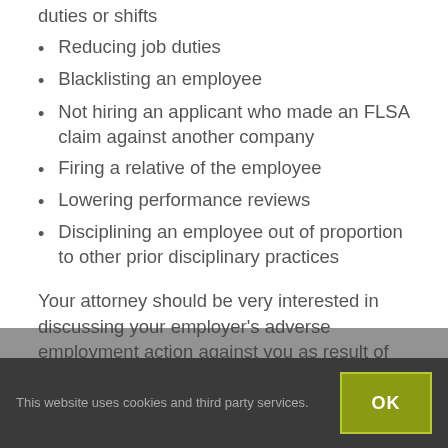duties or shifts
Reducing job duties
Blacklisting an employee
Not hiring an applicant who made an FLSA claim against another company
Firing a relative of the employee
Lowering performance reviews
Disciplining an employee out of proportion to other prior disciplinary practices
Your attorney should be very interested in discussing your employer’s adverse employment action against you as result of asserting your rights. You can sue just for being the victim of such retaliation. You can even receive punitive damages if the retaliation was particularly
This website uses cookies and third party services.